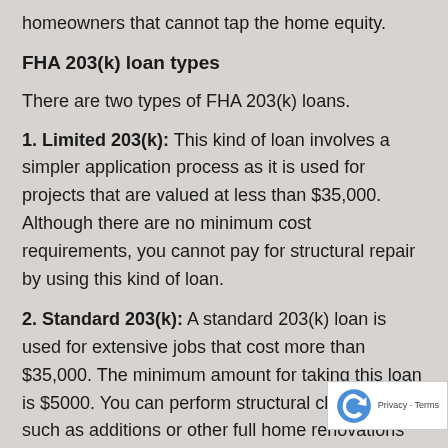homeowners that cannot tap the home equity.
FHA 203(k) loan types
There are two types of FHA 203(k) loans.
1. Limited 203(k): This kind of loan involves a simpler application process as it is used for projects that are valued at less than $35,000. Although there are no minimum cost requirements, you cannot pay for structural repair by using this kind of loan.
2. Standard 203(k): A standard 203(k) loan is used for extensive jobs that cost more than $35,000. The minimum amount for taking this loan is $5000. You can perform structural changes such as additions or other full home renovations by using these loans. The homebuyer has to obtain architectural exhibits and meet different building codes.